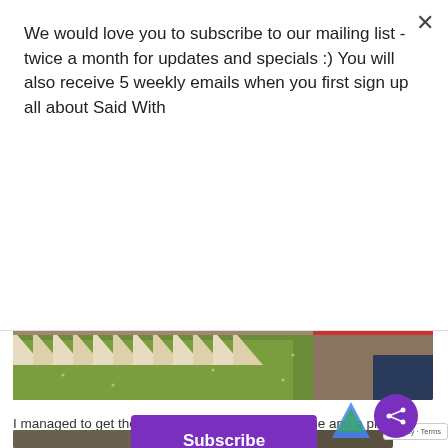We would love you to subscribe to our mailing list - twice a month for updates and specials :) You will also receive 5 weekly emails when you first sign up all about Said With
[Figure (other): Subscribe button - purple rectangle with white text]
[Figure (photo): Photo of quilt fabric pieces in green, cream, brown, red and dark patterns arranged in triangular/layered formation on a cutting mat]
I managed to get the Lady of the Lake quilt top done and a plan for the pieced backing before the original release date of this pattern.
[Figure (photo): Partial photo at bottom of page showing quilting materials]